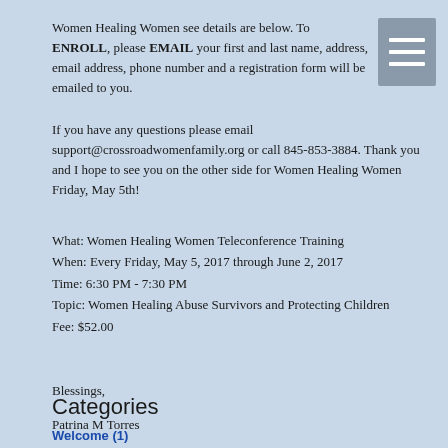Women Healing Women see details are below. To ENROLL, please EMAIL your first and last name, address, email address, phone number and a registration form will be emailed to you.
If you have any questions please email support@crossroadwomenfamily.org or call 845-853-3884. Thank you and I hope to see you on the other side for Women Healing Women Friday, May 5th!
What: Women Healing Women Teleconference Training
When: Every Friday, May 5, 2017 through June 2, 2017
Time: 6:30 PM - 7:30 PM
Topic: Women Healing Women Abuse Survivors and Protecting Children
Fee: $52.00
Blessings,
Patrina M Torres
Categories
Welcome (1)